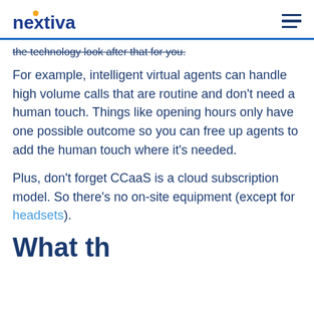nextiva
the technology look after that for you.
For example, intelligent virtual agents can handle high volume calls that are routine and don’t need a human touch. Things like opening hours only have one possible outcome so you can free up agents to add the human touch where it’s needed.
Plus, don’t forget CCaaS is a cloud subscription model. So there’s no on-site equipment (except for headsets).
Wh...